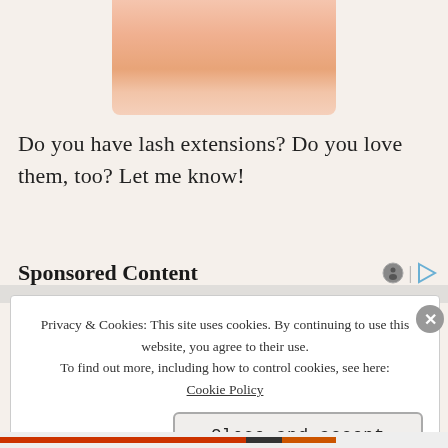[Figure (illustration): Close-up illustration of a chin and lower face area with peach/skin-tone coloring, partially cropped at top of page.]
Do you have lash extensions?  Do you love them, too?  Let me know!
Sponsored Content
Privacy & Cookies: This site uses cookies. By continuing to use this website, you agree to their use.
To find out more, including how to control cookies, see here:
Cookie Policy
Close and accept